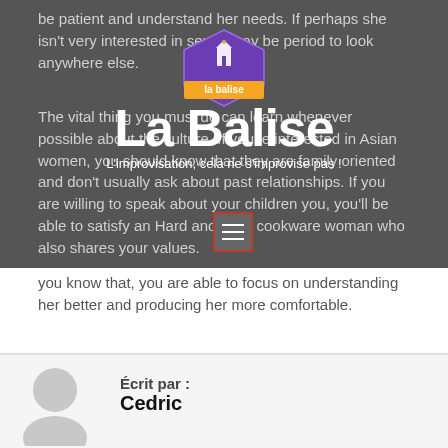be patient and understand her needs. If perhaps she isn't very interested in sex, it may be period to look anywhere else.
[Figure (logo): La Balise logo — purple hexagonal badge with building icon, orange ribbon banner, and large white text 'La Balise' with subtitle 'L'improvisation, cela ne s'improvise pas!']
The vital thing you must do can learn whenever possible about the culture. If you're interested in Asian women, you should know that they are family oriented and don't usually ask about past relationships. If you are willing to speak about your children you, you'll be able to satisfy an Hard anodized cookware woman who also shares your values. Once you know that, you are able to focus on understanding her better and producing her more comfortable.
Écrit par :
Cedric